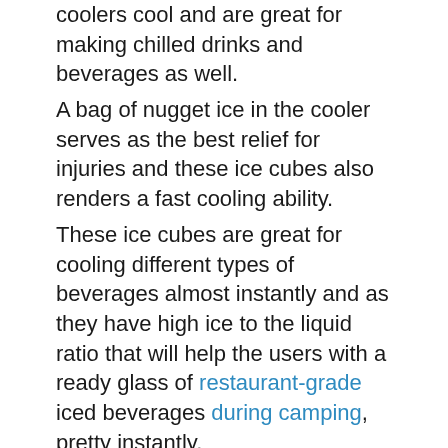coolers cool and are great for making chilled drinks and beverages as well.
A bag of nugget ice in the cooler serves as the best relief for injuries and these ice cubes also renders a fast cooling ability.
These ice cubes are great for cooling different types of beverages almost instantly and as they have high ice to the liquid ratio that will help the users with a ready glass of restaurant-grade iced beverages during camping, pretty instantly.
4. Helps to make frozen drinks on the trip instantly
Who will not like a glass of best tasting drink